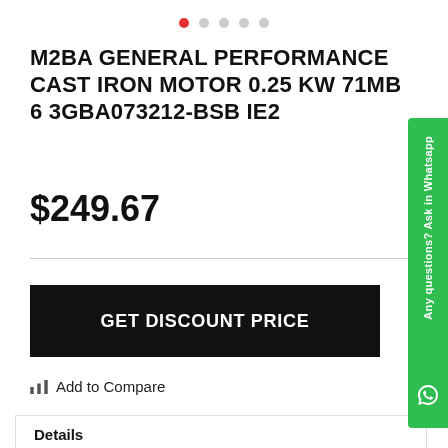[Figure (other): Pagination dots — 5 circles, first one active (red), rest grey]
M2BA GENERAL PERFORMANCE CAST IRON MOTOR 0.25 KW 71MB 6 3GBA073212-BSB IE2
$249.67
SKU#: 3GBA073212-BSB
IN STOCK
GET DISCOUNT PRICE
Add to Compare
Details
Commission Regulation EU 2019/1781, amendment (EU) 2021/341 sets new requirements for electric motors and variable speed drives.
[Figure (other): WhatsApp sidebar button with text 'Any questions? Ask in Whatsapp' and WhatsApp icon]